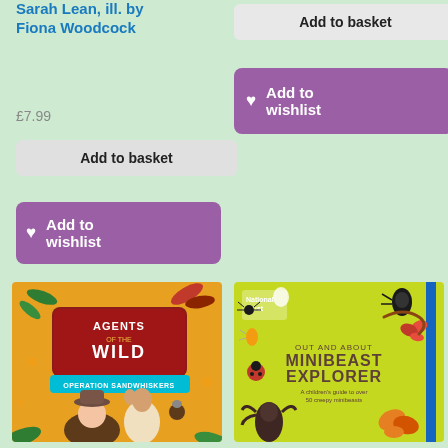Sarah Lean, ill. by Fiona Woodcock
£7.99
Add to basket
♥ Add to wishlist
Add to basket
♥ Add to wishlist
[Figure (illustration): Book cover: Agents of the Wild - Operation Sandwhiskers, featuring a girl in a hat with a squirrel, colourful adventure illustration]
[Figure (illustration): Book cover: Out and About Minibeast Explorer - A children's guide to over 50 creepy minibeasts, National Trust, yellow cover with insects]